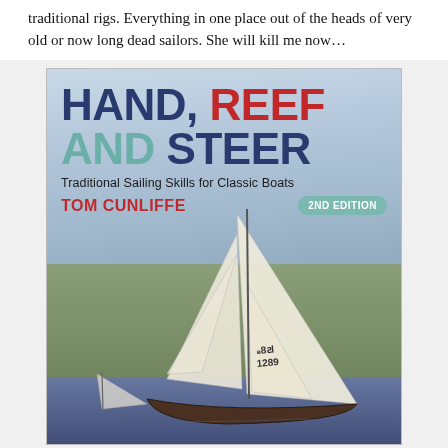traditional rigs. Everything in one place out of the heads of very old or now long dead sailors. She will kill me now…
[Figure (photo): Book cover of 'Hand, Reef and Steer: Traditional Sailing Skills for Classic Boats' by Tom Cunliffe, 2nd Edition. Shows a classic sailing boat with sail number 1289 on water with green hills in background.]